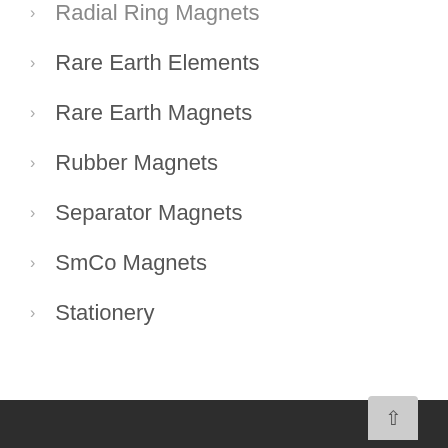Radial Ring Magnets
Rare Earth Elements
Rare Earth Magnets
Rubber Magnets
Separator Magnets
SmCo Magnets
Stationery